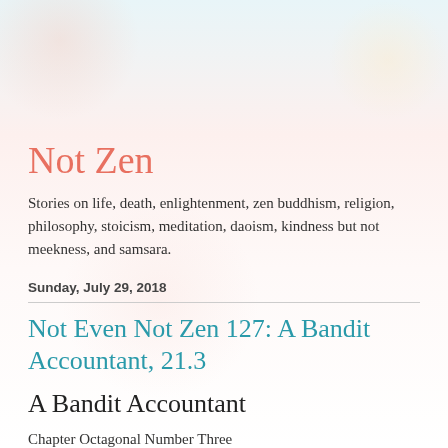Not Zen
Stories on life, death, enlightenment, zen buddhism, religion, philosophy, stoicism, meditation, daoism, kindness but not meekness, and samsara.
Sunday, July 29, 2018
Not Even Not Zen 127: A Bandit Accountant, 21.3
A Bandit Accountant
Chapter Octagonal Number Three
Scene Three: Cartomancy